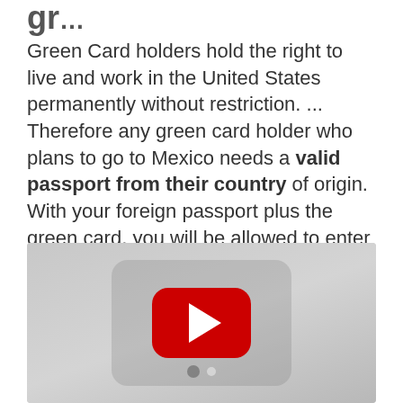gr…
Green Card holders hold the right to live and work in the United States permanently without restriction. ... Therefore any green card holder who plans to go to Mexico needs a valid passport from their country of origin. With your foreign passport plus the green card, you will be allowed to enter Mexico by air, sea or land.
[Figure (other): YouTube video player thumbnail showing a red YouTube play button on a grey background]